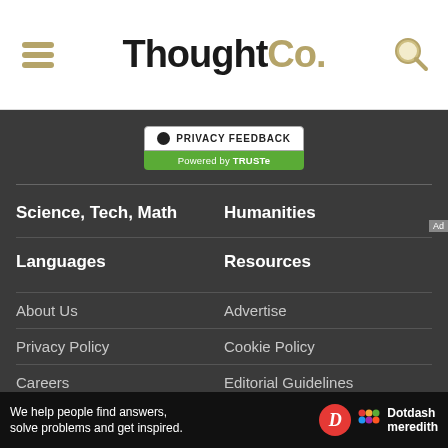ThoughtCo.
[Figure (screenshot): Privacy Feedback badge powered by TRUSTe]
Science, Tech, Math
Humanities
Languages
Resources
About Us
Advertise
Privacy Policy
Cookie Policy
Careers
Editorial Guidelines
Contact
Terms of Use
California Privacy Notice
Do Not Sell My Personal
We help people find answers, solve problems and get inspired. Dotdash meredith